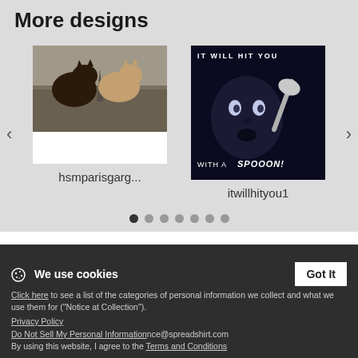More designs
[Figure (photo): Carousel item showing cats over Paris rooftops - hsmparisgarg...]
[Figure (photo): Carousel item showing dark figure with spoon and text IT WILL HIT YOU WITH A SPOOON! - itwillhityou1]
Privacy
Legal Info
Tracking
United States
Copyright information
Terms & Conditions
We use cookies
Click here to see a list of the categories of personal information we collect and what we use them for ("Notice at Collection").
Shipping Costs and shipping times
Privacy Policy
Do Not Sell My Personal Information
By using this website, I agree to the Terms and Conditions
ice@spreadshirt.com
+1 800 381 0815/Mon - Fri 8am - 7pm ET